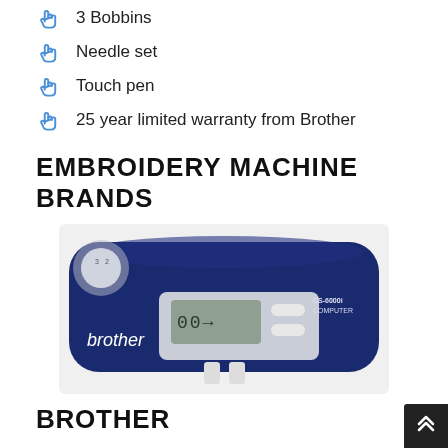3 Bobbins
Needle set
Touch pen
25 year limited warranty from Brother
EMBROIDERY MACHINE BRANDS
[Figure (photo): Close-up photo of a Brother CS-6000i Computer sewing machine body in dark blue, showing LCD display panel and control buttons, with 'brother' branding text visible.]
BROTHER
Brother was founded in 1908 in Japan. Their embroidery machines reviews are consistently good